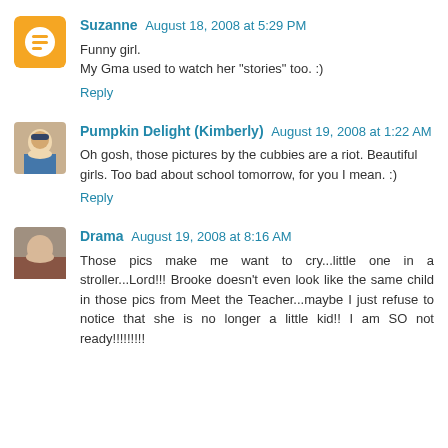Suzanne August 18, 2008 at 5:29 PM
Funny girl.
My Gma used to watch her "stories" too. :)
Reply
Pumpkin Delight (Kimberly) August 19, 2008 at 1:22 AM
Oh gosh, those pictures by the cubbies are a riot. Beautiful girls. Too bad about school tomorrow, for you I mean. :)
Reply
Drama August 19, 2008 at 8:16 AM
Those pics make me want to cry...little one in a stroller...Lord!!! Brooke doesn't even look like the same child in those pics from Meet the Teacher...maybe I just refuse to notice that she is no longer a little kid!! I am SO not ready!!!!!!!!!